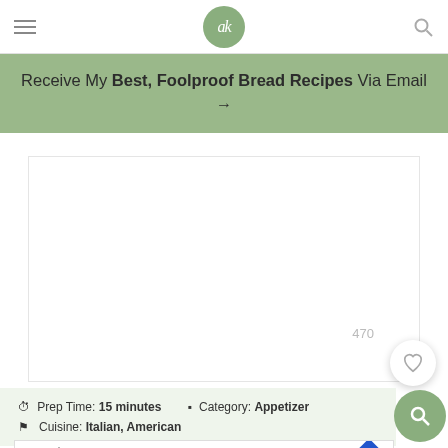[Figure (screenshot): Website navigation bar with hamburger menu, circular logo with 'ak' text, and search icon]
Receive My Best, Foolproof Bread Recipes Via Email →
[Figure (photo): Large white/blank image area for recipe photo with heart like button showing 470 and a search circle button]
Prep Time: 15 minutes   Category: Appetizer   Cuisine: Italian, American
[Figure (screenshot): Advertisement bar showing TopGolf logo with Dine-in checkmark and Delivery X options and blue arrow diamond]